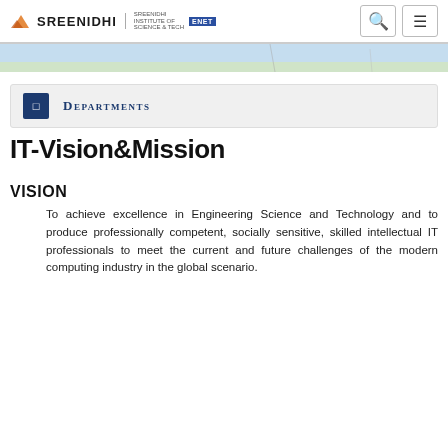SREENIDHI | Departments
[Figure (photo): Campus hero image strip showing buildings and sky]
Departments
IT-Vision&Mission
VISION
To achieve excellence in Engineering Science and Technology and to produce professionally competent, socially sensitive, skilled intellectual IT professionals to meet the current and future challenges of the modern computing industry in the global scenario.